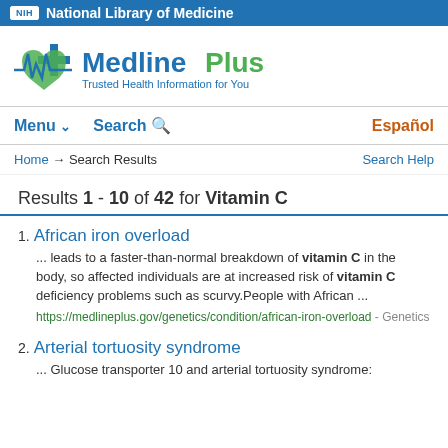NIH National Library of Medicine
[Figure (logo): MedlinePlus logo with green heart icon and text 'Trusted Health Information for You']
Menu ∨  Search 🔍  Español
Home → Search Results  Search Help
Results 1 - 10 of 42 for Vitamin C
1. African iron overload — ... leads to a faster-than-normal breakdown of vitamin C in the body, so affected individuals are at increased risk of vitamin C deficiency problems such as scurvy.People with African ... https://medlineplus.gov/genetics/condition/african-iron-overload - Genetics
2. Arterial tortuosity syndrome — ... Glucose transporter 10 and arterial tortuosity syndrome: